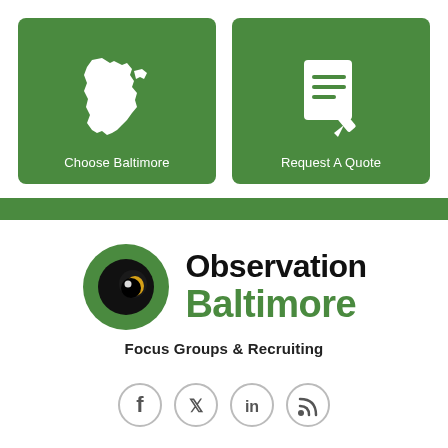[Figure (screenshot): Two green tiles side by side: left tile shows a white map of Baltimore with label 'Choose Baltimore', right tile shows a white document/pencil icon with label 'Request A Quote']
[Figure (logo): Observation Baltimore logo with camera eye icon, text 'Observation Baltimore' and tagline 'Focus Groups & Recruiting']
[Figure (infographic): Row of four social media icons (Facebook, Twitter, LinkedIn, RSS) partially visible at bottom]